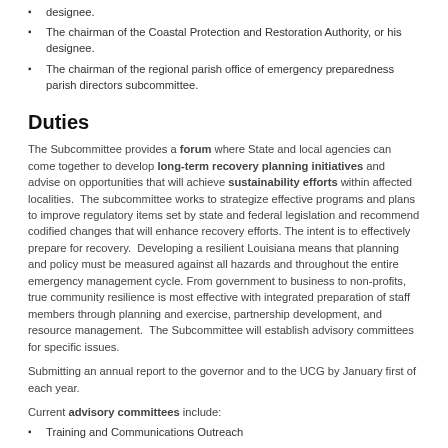designee.
The chairman of the Coastal Protection and Restoration Authority, or his designee.
The chairman of the regional parish office of emergency preparedness parish directors subcommittee.
Duties
The Subcommittee provides a forum where State and local agencies can come together to develop long-term recovery planning initiatives and advise on opportunities that will achieve sustainability efforts within affected localities. The subcommittee works to strategize effective programs and plans to improve regulatory items set by state and federal legislation and recommend codified changes that will enhance recovery efforts. The intent is to effectively prepare for recovery. Developing a resilient Louisiana means that planning and policy must be measured against all hazards and throughout the entire emergency management cycle. From government to business to non-profits, true community resilience is most effective with integrated preparation of staff members through planning and exercise, partnership development, and resource management. The Subcommittee will establish advisory committees for specific issues.
Submitting an annual report to the governor and to the UCG by January first of each year.
Current advisory committees include:
Training and Communications Outreach
Policy and Planning
Community Planning and Capacity Building
Economic and Business